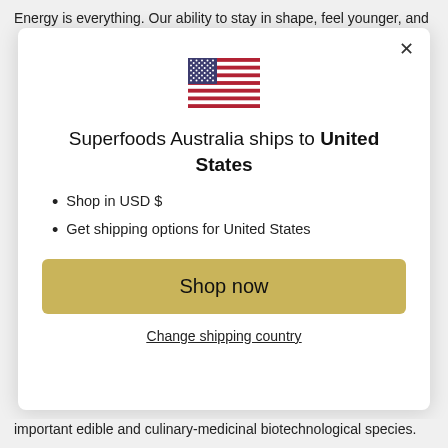Energy is everything. Our ability to stay in shape, feel younger, and
[Figure (illustration): US flag emoji/icon]
Superfoods Australia ships to United States
Shop in USD $
Get shipping options for United States
Shop now
Change shipping country
important edible and culinary-medicinal biotechnological species.